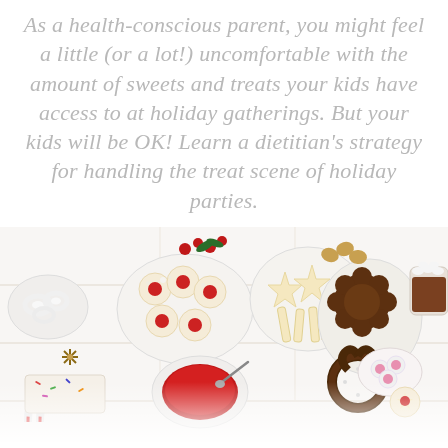As a health-conscious parent, you might feel a little (or a lot!) uncomfortable with the amount of sweets and treats your kids have access to at holiday gatherings. But your kids will be OK! Learn a dietitian's strategy for handling the treat scene of holiday parties.
[Figure (photo): Overhead flat-lay photo of a holiday treats spread on a white table: thumbprint jam cookies, chocolate-dipped pretzels and cookies, star-shaped cookies, candy canes, frosted holiday cookies, a bowl of jam/cranberry sauce, hot cocoa with marshmallows, and assorted Christmas sweets.]